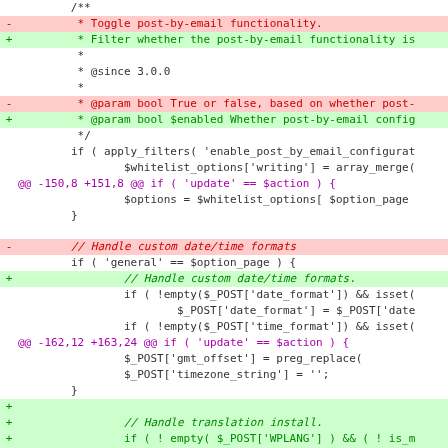diff code block showing git diff of WordPress PHP file with removed and added lines for post-by-email functionality and custom date/time format handling